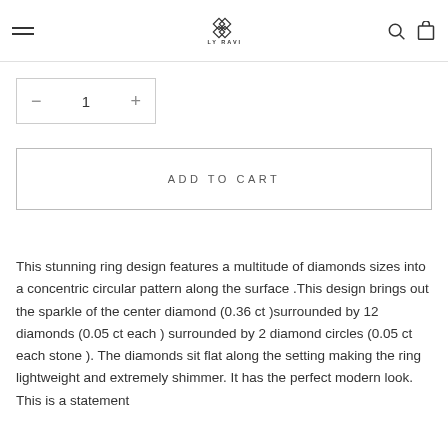ORLY RAVITZ
1
ADD TO CART
This stunning ring design features a multitude of diamonds sizes into a concentric circular pattern along the surface .This design brings out the sparkle of the center diamond (0.36 ct )surrounded by 12 diamonds (0.05 ct each ) surrounded by 2 diamond circles (0.05 ct  each stone ). The diamonds sit flat along the setting making the ring lightweight and extremely shimmer. It has the perfect modern look. This is a statement